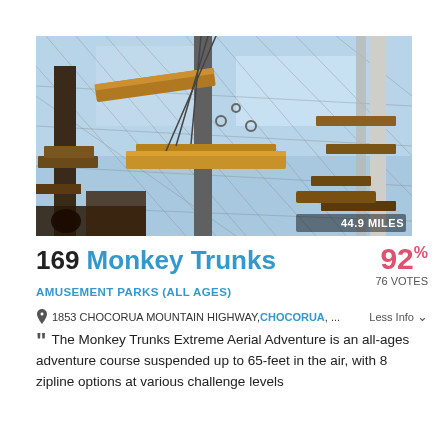[Figure (photo): Aerial adventure course with wooden platforms, rope bridges, ziplines and poles against a blue sky]
169 Monkey Trunks
92% 76 VOTES
AMUSEMENT PARKS (ALL AGES)
1853 CHOCORUA MOUNTAIN HIGHWAY, CHOCORUA, ... Less Info
The Monkey Trunks Extreme Aerial Adventure is an all-ages adventure course suspended up to 65-feet in the air, with 8 zipline options at various challenge levels